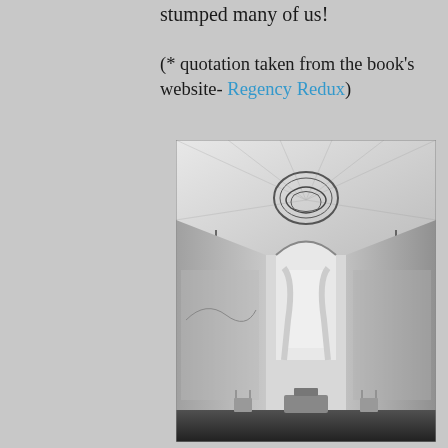stumped many of us!
(* quotation taken from the book's website- Regency Redux)
[Figure (photo): Black and white photograph of an elegant interior room with a vaulted tent-like painted ceiling featuring a decorative circular medallion, arched window with draped curtains, painted scenic murals on the walls, and period furniture.]